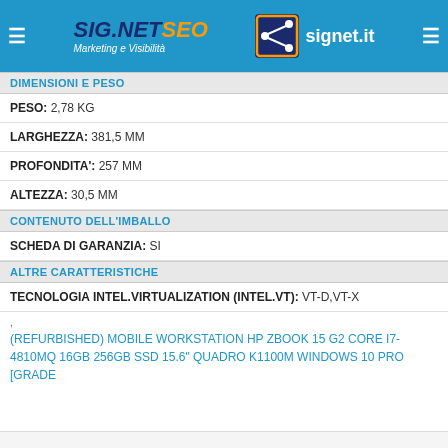SIG.NETSEO Marketing e Visibilità | signet.it
DIMENSIONI E PESO
PESO: 2,78 KG
LARGHEZZA: 381,5 MM
PROFONDITA': 257 MM
ALTEZZA: 30,5 MM
CONTENUTO DELL'IMBALLO
SCHEDA DI GARANZIA: SI
ALTRE CARATTERISTICHE
TECNOLOGIA INTEL.VIRTUALIZATION (INTEL.VT): VT-D,VT-X
,
(REFURBISHED) MOBILE WORKSTATION HP ZBOOK 15 G2 CORE I7-4810MQ 16GB 256GB SSD 15.6" QUADRO K1100M WINDOWS 10 PRO [GRADE